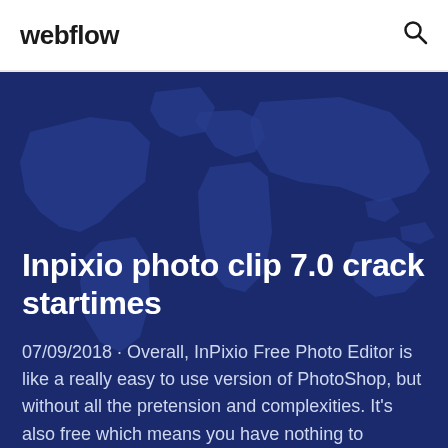webflow
[Figure (illustration): Dark blue world map background illustration]
Inpixio photo clip 7.0 crack startimes
07/09/2018 · Overall, InPixio Free Photo Editor is like a really easy to use version of PhotoShop, but without all the pretension and complexities. It's also free which means you have nothing to